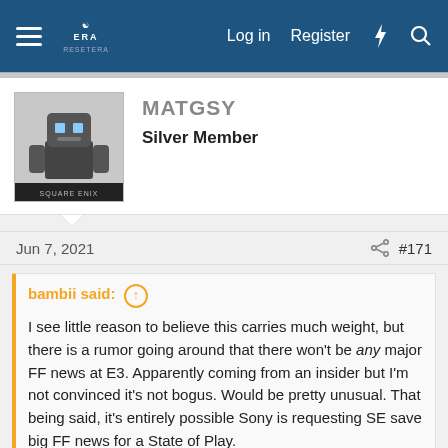ERACERSite | Log in | Register
[Figure (screenshot): User avatar: pixel art robot/character with Square Enix label]
MATGSY
Silver Member
Jun 7, 2021  #171
bambii said: ↑

I see little reason to believe this carries much weight, but there is a rumor going around that there won't be any major FF news at E3. Apparently coming from an insider but I'm not convinced it's not bogus. Would be pretty unusual. That being said, it's entirely possible Sony is requesting SE save big FF news for a State of Play.

No Major Final Fantasy Series News May Be...
Click to expand...
My trust in "insiders" has been severely broken this past 2 weeks with the Switch Pro nonsense. In any event, low cost ports of old 2D games won't count as major news.